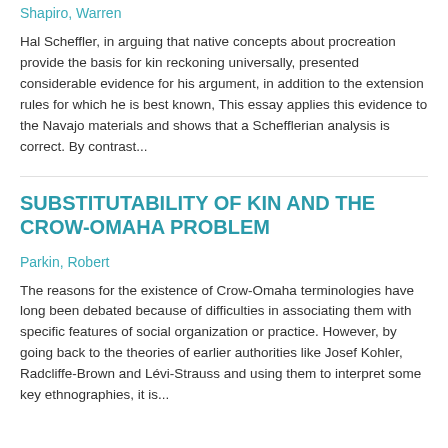Shapiro, Warren
Hal Scheffler, in arguing that native concepts about procreation provide the basis for kin reckoning universally, presented considerable evidence for his argument, in addition to the extension rules for which he is best known, This essay applies this evidence to the Navajo materials and shows that a Schefflerian analysis is correct. By contrast...
SUBSTITUTABILITY OF KIN AND THE CROW-OMAHA PROBLEM
Parkin, Robert
The reasons for the existence of Crow-Omaha terminologies have long been debated because of difficulties in associating them with specific features of social organization or practice. However, by going back to the theories of earlier authorities like Josef Kohler, Radcliffe-Brown and Lévi-Strauss and using them to interpret some key ethnographies, it is...